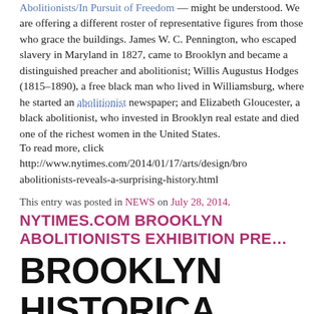Abolitionists/In Pursuit of Freedom — might be understood. We are offering a different roster of representative figures from those who grace the buildings. James W. C. Pennington, who escaped slavery in Maryland in 1827, came to Brooklyn and became a distinguished preacher and abolitionist; Willis Augustus Hodges (1815–1890), a free black man who lived in Williamsburg, where he started an abolitionist newspaper; and Elizabeth Gloucester, a black abolitionist, who invested in Brooklyn real estate and died one of the richest women in the United States.
To read more, click http://www.nytimes.com/2014/01/17/arts/design/brooklyn-abolitionists-reveals-a-surprising-history.html
This entry was posted in NEWS on July 28, 2014.
NYTIMES.COM BROOKLYN ABOLITIONISTS EXHIBITION PRE…
BROOKLYN HISTORICAL SOCIETY TO PRESENT EXHIBITION ON ABOLITIONISTS